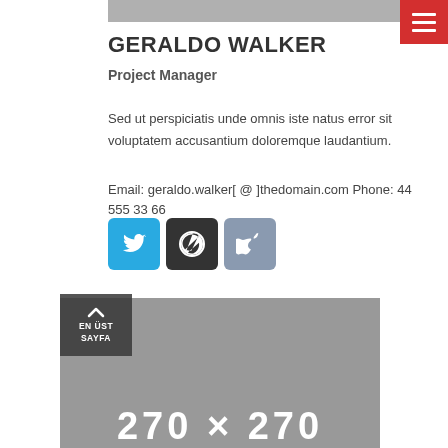[Figure (other): Gray top banner bar]
[Figure (other): Red hamburger menu button in top right corner with three white horizontal lines]
GERALDO WALKER
Project Manager
Sed ut perspiciatis unde omnis iste natus error sit voluptatem accusantium doloremque laudantium.
Email: geraldo.walker[ @ ]thedomain.com Phone: 44 555 33 66
[Figure (other): Social media icons: Twitter (blue), WordPress (dark gray), Apple (grayish-blue)]
[Figure (other): Gray placeholder image 270x270 with back-to-top button overlay showing EN UST SAYFA]